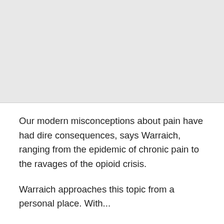[Figure (photo): Gray placeholder image occupying the top portion of the page, representing a photo or illustration related to pain or medicine.]
Our modern misconceptions about pain have had dire consequences, says Warraich, ranging from the epidemic of chronic pain to the ravages of the opioid crisis.
Warraich approaches this topic from a personal place. With...